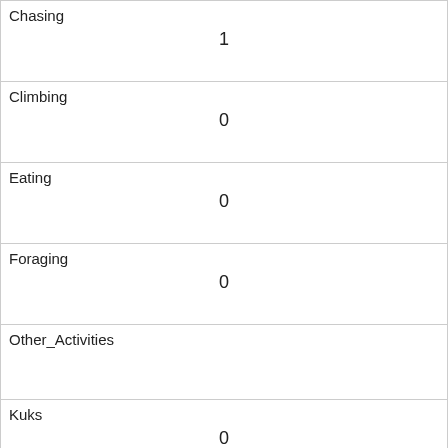| Chasing | 1 |
| Climbing | 0 |
| Eating | 0 |
| Foraging | 0 |
| Other_Activities |  |
| Kuks | 0 |
| Quaas | 0 |
| Moans | 0 |
| Tail_flags | 0 |
| Tail_twitches | 0 |
| Approaches |  |